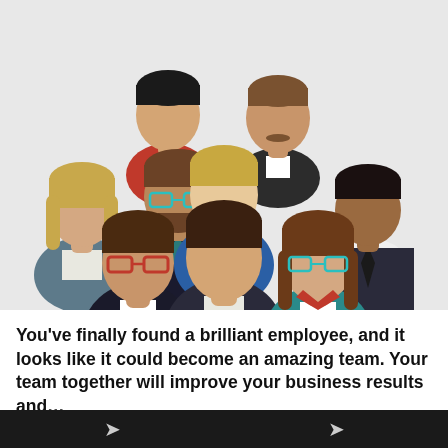[Figure (illustration): Flat vector illustration of a diverse group of 9 people (business team) shown from the shoulders up, arranged in three rows. Various skin tones, hair colors, and styles. Some wear glasses, some have ties, various clothing colors including red, teal, white, black, gray.]
You’ve finally found a brilliant employee, and it looks like it could become an amazing team. Your team together will improve your business results and…